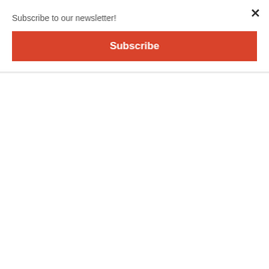Subscribe to our newsletter!
Subscribe
Pauline Books & Media, 2020, 106).
The same principle applies in the spiritual life. Mary cooperated with God in such a unique way that without her we simply wouldn’t be the spiritual sons and daughters of the Father that he wants us to be. The Creator came into the world through her, enabling all of us to be reborn. On the Cross, Jesus gave everything to us, including his mother: “Behold your mother” (John 19:27). She cares for us as her son’s own beloved disciple, extending to us her motherly love, and showing